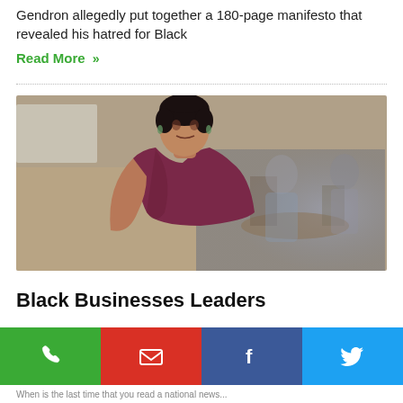Gendron allegedly put together a 180-page manifesto that revealed his hatred for Black
Read More »
[Figure (photo): A Black woman in a maroon sleeveless wrap top stands smiling in a café or meeting room setting, with blurred people seated at tables in the background.]
Black Businesses Leaders
[Figure (infographic): Social sharing bar with four buttons: phone (green), email (red), Facebook (dark blue), Twitter (light blue)]
When is the last time that you read a national news...